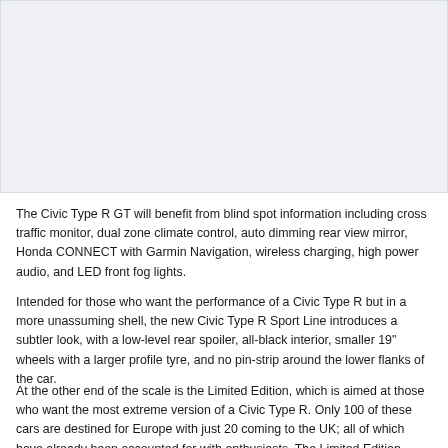[Figure (photo): Large light grey rectangular placeholder image area occupying the top portion of the page]
The Civic Type R GT will benefit from blind spot information including cross traffic monitor, dual zone climate control, auto dimming rear view mirror, Honda CONNECT with Garmin Navigation, wireless charging, high power audio, and LED front fog lights.
Intended for those who want the performance of a Civic Type R but in a more unassuming shell, the new Civic Type R Sport Line introduces a subtler look, with a low-level rear spoiler, all-black interior, smaller 19" wheels with a larger profile tyre, and no pin-strip around the lower flanks of the car.
At the other end of the scale is the Limited Edition, which is aimed at those who want the most extreme version of a Civic Type R. Only 100 of these cars are destined for Europe with just 20 coming to the UK; all of which have already been accounted for with enthusiasts. The Limited Edition